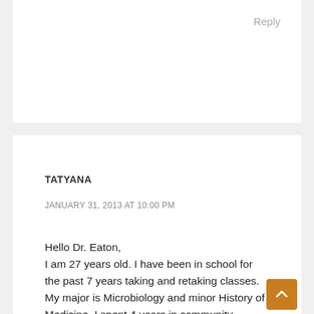Reply
TATYANA
JANUARY 31, 2013 AT 10:00 PM
Hello Dr. Eaton,
I am 27 years old. I have been in school for the past 7 years taking and retaking classes. My major is Microbiology and minor History of Medicine. I spent 4 years in community college learning English and then taking general education classes, including pre-health. I did poorly in some of them so I had to retake them and transferred to 4 year University with 3.1 GPA. However, my first 1.5 years at the University were very challenging